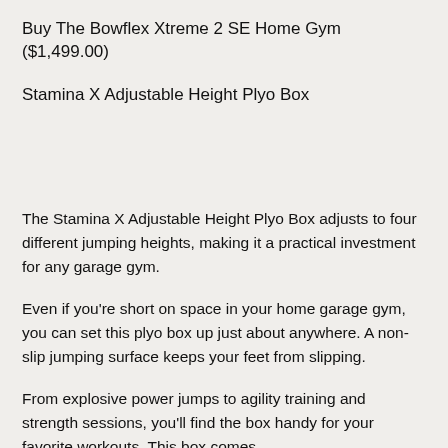Buy The Bowflex Xtreme 2 SE Home Gym ($1,499.00)
Stamina X Adjustable Height Plyo Box
The Stamina X Adjustable Height Plyo Box adjusts to four different jumping heights, making it a practical investment for any garage gym.
Even if you're short on space in your home garage gym, you can set this plyo box up just about anywhere. A non-slip jumping surface keeps your feet from slipping.
From explosive power jumps to agility training and strength sessions, you'll find the box handy for your favorite workouts. This box comes and to more than 200 pounds with its leg and attachment...